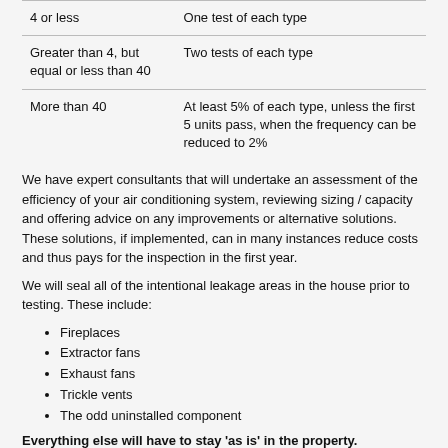|  |  |
| --- | --- |
| 4 or less | One test of each type |
| Greater than 4, but equal or less than 40 | Two tests of each type |
| More than 40 | At least 5% of each type, unless the first 5 units pass, when the frequency can be reduced to 2% |
We have expert consultants that will undertake an assessment of the efficiency of your air conditioning system, reviewing sizing / capacity and offering advice on any improvements or alternative solutions. These solutions, if implemented, can in many instances reduce costs and thus pays for the inspection in the first year.
We will seal all of the intentional leakage areas in the house prior to testing. These include:
Fireplaces
Extractor fans
Exhaust fans
Trickle vents
The odd uninstalled component
Everything else will have to stay 'as is' in the property.
To carry out such a test with accurate results, we require some general requirements to be made available at the time of the test: SAP Design air pressure test figure, an electricity supply and a water supply to enable traps to be filled.